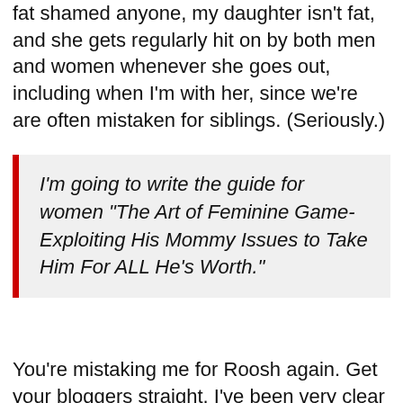fat shamed anyone, my daughter isn't fat, and she gets regularly hit on by both men and women whenever she goes out, including when I'm with her, since we're are often mistaken for siblings. (Seriously.)
I'm going to write the guide for women "The Art of Feminine Game-Exploiting His Mommy Issues to Take Him For ALL He's Worth."
You're mistaking me for Roosh again. Get your bloggers straight. I've been very clear that any man who gets his wallet sucked out by a woman these days probably deserves it, so go for it.